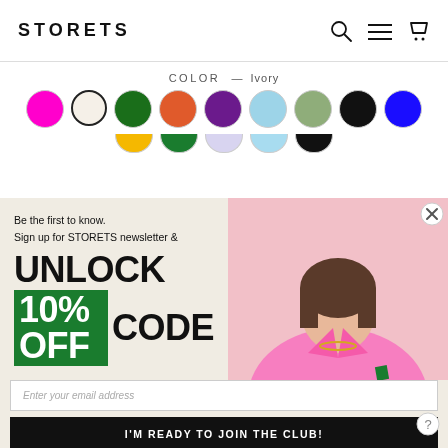STORETS
COLOR — Ivory
[Figure (other): Color swatch selector showing circles: magenta, ivory (selected/outlined), dark green, orange, purple, light blue, sage green, black, blue in row 1; yellow, green, lavender, light blue, black (partial) in row 2]
[Figure (photo): Woman wearing pink blazer with green pocket square, short brown hair, gold necklace, neutral expression]
Be the first to know.
Sign up for STORETS newsletter &
UNLOCK
10% OFF CODE
Enter your email address
I'M READY TO JOIN THE CLUB!
NO THANKS